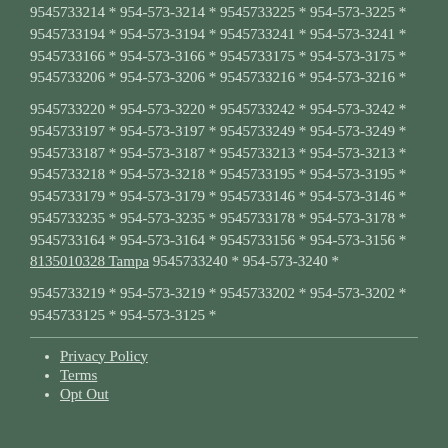9545733214 * 954-573-3214 * 9545733225 * 954-573-3225 * 9545733194 * 954-573-3194 * 9545733241 * 954-573-3241 * 9545733166 * 954-573-3166 * 9545733175 * 954-573-3175 * 9545733206 * 954-573-3206 * 9545733216 * 954-573-3216 *
9545733220 * 954-573-3220 * 9545733242 * 954-573-3242 * 9545733197 * 954-573-3197 * 9545733249 * 954-573-3249 * 9545733187 * 954-573-3187 * 9545733213 * 954-573-3213 * 9545733218 * 954-573-3218 * 9545733195 * 954-573-3195 * 9545733179 * 954-573-3179 * 9545733146 * 954-573-3146 * 9545733235 * 954-573-3235 * 9545733178 * 954-573-3178 * 9545733164 * 954-573-3164 * 9545733156 * 954-573-3156 * 8135010328 Tampa 9545733240 * 954-573-3240 *
9545733219 * 954-573-3219 * 9545733202 * 954-573-3202 * 9545733125 * 954-573-3125 *
Privacy Policy
Terms
Opt Out